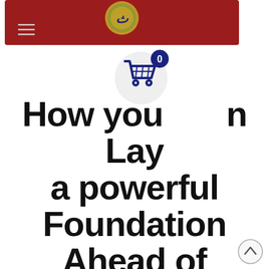[Figure (screenshot): Website header banner with dark red background, a decorative gold/green circular logo at center-top, and hamburger menu icon at top-left]
[Figure (illustration): Shopping cart icon inside a white circle with a dark blue badge showing '0' in upper right]
How you can Lay a powerful Foundation Ahead of Getting Involved within a